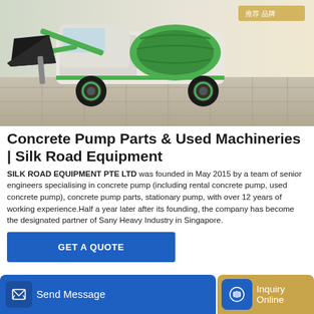[Figure (photo): A green and white self-loading concrete mixer truck with a large black scoop/bucket arm extended, parked on a tiled surface. The machine has the brand markings visible on the drum.]
Concrete Pump Parts & Used Machineries | Silk Road Equipment
SILK ROAD EQUIPMENT PTE LTD was founded in May 2015 by a team of senior engineers specialising in concrete pump (including rental concrete pump, used concrete pump), concrete pump parts, stationary pump, with over 12 years of working experience.Half a year later after its founding, the company has become the designated partner of Sany Heavy Industry in Singapore.
GET A QUOTE
Send Message
Inquiry Online